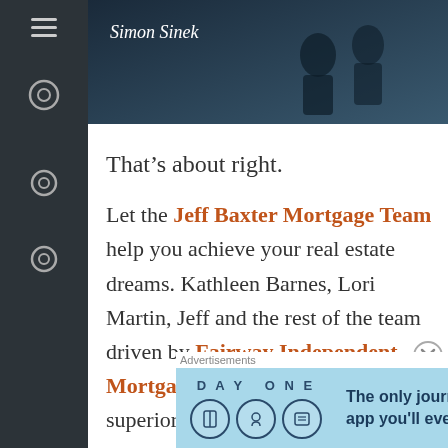[Figure (photo): Screenshot of a website/app showing Simon Sinek book cover or image at top, with dark blue background]
That's about right.
Let the Jeff Baxter Mortgage Team help you achieve your real estate dreams. Kathleen Barnes, Lori Martin, Jeff and the rest of the team driven by Fairway Independent Mortgage work every day to deliver superior communication
Advertisements
[Figure (screenshot): Day One journaling app advertisement banner: The only journaling app you'll ever need.]